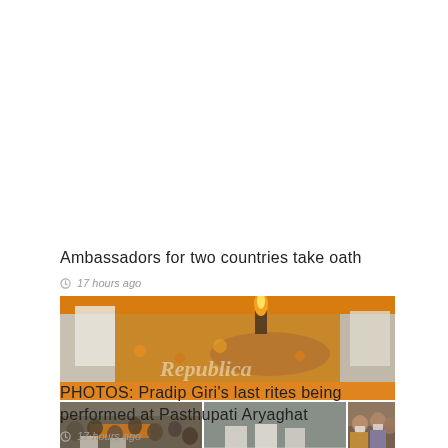Ambassadors for two countries take oath
17 hours ago
[Figure (photo): Three-panel photo collage showing last rites ceremony: top panel shows body covered in marigold garlands with flame torch; bottom-left shows crowd procession with orange-draped body; bottom-center shows people performing rites; bottom-right shows mourners wearing masks. Republica watermark visible.]
PHOTOS: Pradip Giri's last rites being performed at Pasthupati Aryaghat
17 hours ago